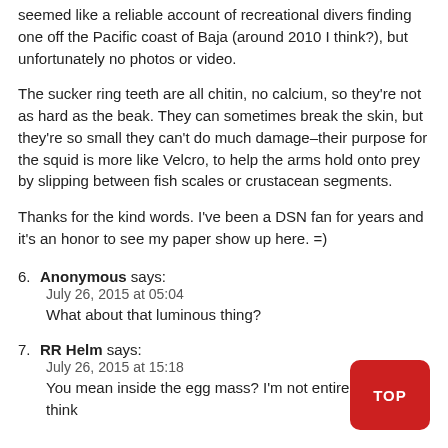seemed like a reliable account of recreational divers finding one off the Pacific coast of Baja (around 2010 I think?), but unfortunately no photos or video.
The sucker ring teeth are all chitin, no calcium, so they're not as hard as the beak. They can sometimes break the skin, but they're so small they can't do much damage–their purpose for the squid is more like Velcro, to help the arms hold onto prey by slipping between fish scales or crustacean segments.
Thanks for the kind words. I've been a DSN fan for years and it's an honor to see my paper show up here. =)
6. Anonymous says:
July 26, 2015 at 05:04
What about that luminous thing?
7. RR Helm says:
July 26, 2015 at 15:18
You mean inside the egg mass? I'm not entirely sure. I think